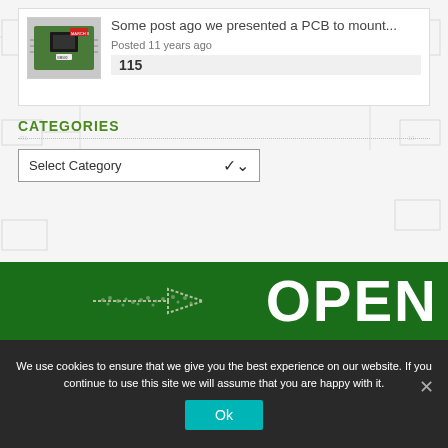[Figure (screenshot): Blog post card with PCB thumbnail image, title 'Some post ago we presented a PCB to mount...', posted 11 years ago, with 115 comments count]
CATEGORIES
[Figure (screenshot): Dropdown select box with 'Select Category' and a chevron arrow]
[Figure (other): Green banner with dotted arrow graphic and large white text 'OPEN']
We use cookies to ensure that we give you the best experience on our website. If you continue to use this site we will assume that you are happy with it.